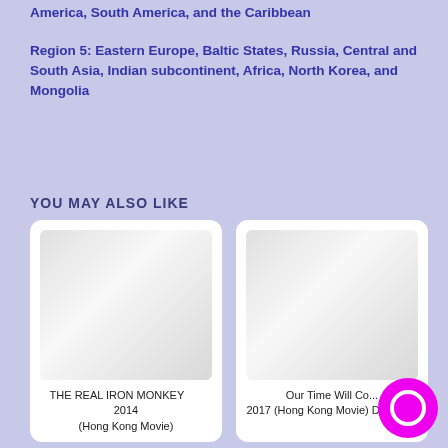America, South America, and the Caribbean
Region 5: Eastern Europe, Baltic States, Russia, Central and South Asia, Indian subcontinent, Africa, North Korea, and Mongolia
YOU MAY ALSO LIKE
[Figure (photo): Movie cover placeholder for THE REAL IRON MONKEY 2014 (Hong Kong Movie)]
THE REAL IRON MONKEY    2014 (Hong Kong Movie)
[Figure (photo): Movie cover placeholder for Our Time Will Co... 2017 (Hong Kong Movie) DVD with]
Our Time Will Co... 2017 (Hong Kong Movie) DVD with